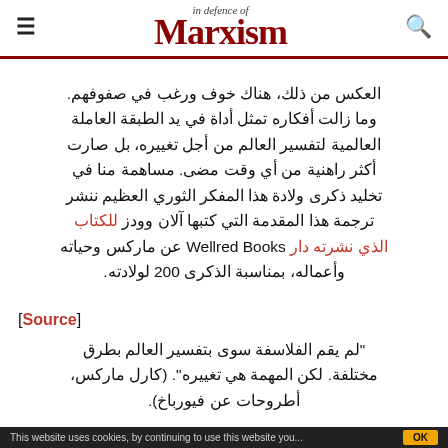In Defence of Marxism
العكس من ذلك، هناك خوف ورغب في صفوفهم. وما زالت أفكاره تمثل أداة في يد الطبقة العاملة العالمية لتفسير العالم من أجل تغييره، بل صارت أكثر راهنية من أي وقت مضى. مساهمة منا في تخليد ذكرى ولادة هذا المفكر الثوري العظيم ننشر ترجمة هذا المقدمة التي كتبها آلان وودز للكتاب الذي نشرته دار Wellred Books عن ماركس وحياته وأعماله، بمناسبة الذكرى 200 لولادته.
[Source]
"لم يقم الفلاسفة سوى بتفسير العالم بطرق مختلفة. لكن المهمة هي تغييره". (كارل ماركس، أطروحات عن فيورباخ).
This website uses cookies, by continuing to use this website you...